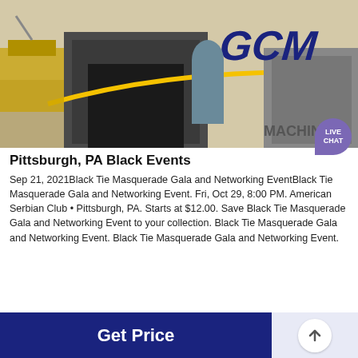[Figure (photo): Industrial machinery photo with 'GCM' logo in blue letters and 'MACHIN...' text, desert/outdoor industrial setting with yellow equipment]
Pittsburgh, PA Black Events
Sep 21, 2021Black Tie Masquerade Gala and Networking EventBlack Tie Masquerade Gala and Networking Event. Fri, Oct 29, 8:00 PM. American Serbian Club • Pittsburgh, PA. Starts at $12.00. Save Black Tie Masquerade Gala and Networking Event to your collection. Black Tie Masquerade Gala and Networking Event. Black Tie Masquerade Gala and Networking Event.
[Figure (screenshot): Get Price button (dark navy blue) with up-arrow circle button to the right]
[Figure (photo): Industrial machinery photo showing large metal tanks/vessels with red trim in a factory/warehouse setting]